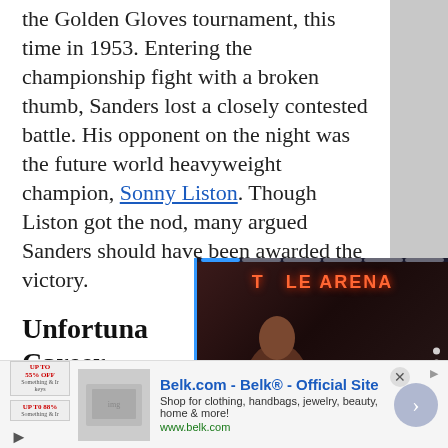the Golden Gloves tournament, this time in 1953. Entering the championship fight with a broken thumb, Sanders lost a closely contested battle. His opponent on the night was the future world heavyweight champion, Sonny Liston. Though Liston got the nod, many argued Sanders should have been awarded the victory.
Unfortuna... Career
Only one facto... to the pro rank...
[Figure (photo): MMA fighter posing in arena with T-Mobile Arena signage in background, carousel/slideshow overlay with progress bar and navigation arrow]
[Figure (infographic): Advertisement banner: Belk.com - Belk Official Site. Shop for clothing, handbags, jewelry, beauty, home & more! www.belk.com]